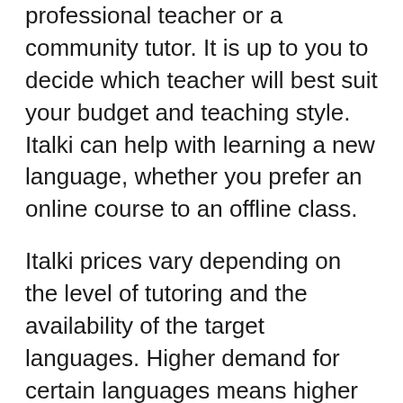professional teacher or a community tutor. It is up to you to decide which teacher will best suit your budget and teaching style. Italki can help with learning a new language, whether you prefer an online course to an offline class.
Italki prices vary depending on the level of tutoring and the availability of the target languages. Higher demand for certain languages means higher prices. Less developed countries will pay less. A one-hour trial lesson costs $4 to $85 and you can pay as you go. Although Italki pricing is similar to in-person language classes, the trial price is significantly less than the regular price.
The website of italki is user-friendly and has